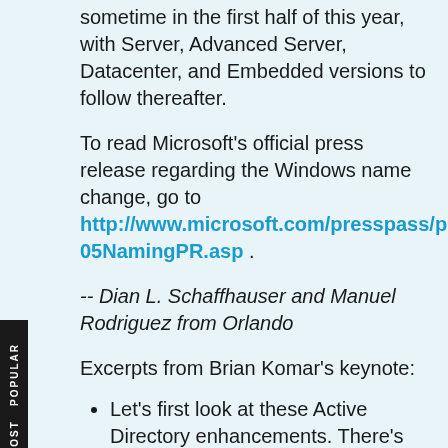sometime in the first half of this year, with Server, Advanced Server, Datacenter, and Embedded versions to follow thereafter.
To read Microsoft's official press release regarding the Windows name change, go to http://www.microsoft.com/presspass/press/05NamingPR.asp .
-- Dian L. Schaffhauser and Manuel Rodriguez from Orlando
Excerpts from Brian Komar's keynote:
Let's first look at these Active Directory enhancements. There's been a few things that people were aware of.... komar-ad.wma (5MB; 5 min. 28 sec.)
People like icons for some reason. This goes back to Windows 3.51...They've